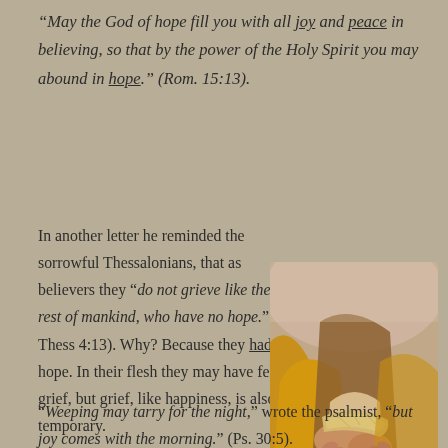“May the God of hope fill you with all joy and peace in believing, so that by the power of the Holy Spirit you may abound in hope.” (Rom. 15:13).
In another letter he reminded the sorrowful Thessalonians, that as believers they “do not grieve like the rest of mankind, who have no hope.” (1 Thess 4:13). Why? Because they had hope. In their flesh they may have felt grief, but grief, like happiness, is also temporary.
[Figure (photo): A person in yellow and brown robes holding a piece of flatbread, shot from below the face showing hands and torso only.]
“Weeping may tarry for the night,” wrote the psalmist, “but joy comes with the morning.” (Ps. 30:5).